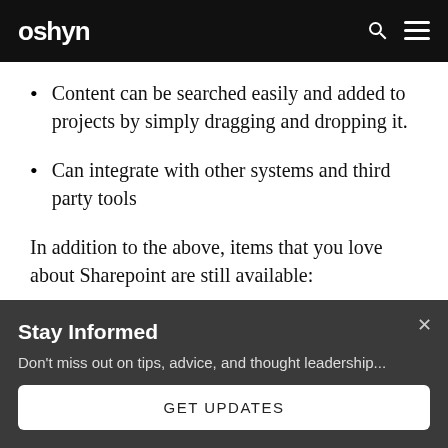oshyn
Content can be searched easily and added to projects by simply dragging and dropping it.
Can integrate with other systems and third party tools
In addition to the above, items that you love about Sharepoint are still available:
Stay Informed
Don't miss out on tips, advice, and thought leadership...
GET UPDATES